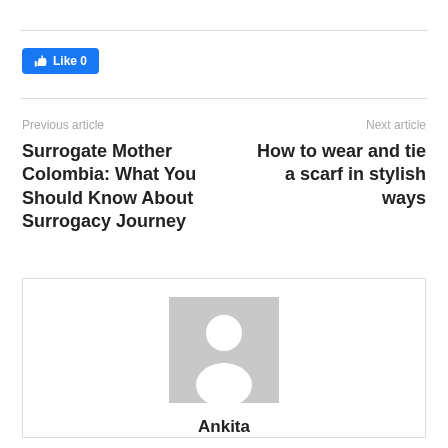[Figure (other): Facebook Like button showing thumbs up icon and Like 0]
Previous article
Next article
Surrogate Mother Colombia: What You Should Know About Surrogacy Journey
How to wear and tie a scarf in stylish ways
[Figure (photo): Generic placeholder avatar image with silhouette of a person on grey background]
Ankita